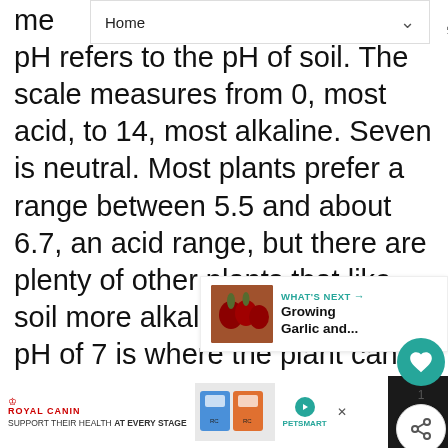Home
pH refers to the pH of soil. The scale measures from 0, most acid, to 14, most alkaline. Seven is neutral. Most plants prefer a range between 5.5 and about 6.7, an acid range, but there are plenty of other plants that like soil more alkaline, or above 7. A pH of 7 is where the plant can most easily absorb the most nutrients in the soil. Some plants prefer more or less certain nutrients, and therefore do better at a certain pH.
[Figure (other): What's Next panel showing Growing Garlic and... with a thumbnail of garlic/onions]